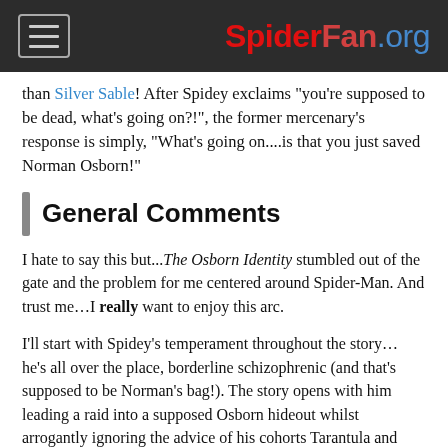SpiderFan.org
than Silver Sable! After Spidey exclaims "you're supposed to be dead, what's going on?!", the former mercenary's response is simply, "What's going on....is that you just saved Norman Osborn!"
General Comments
I hate to say this but...The Osborn Identity stumbled out of the gate and the problem for me centered around Spider-Man. And trust me…I really want to enjoy this arc.
I'll start with Spidey's temperament throughout the story… he's all over the place, borderline schizophrenic (and that's supposed to be Norman's bag!). The story opens with him leading a raid into a supposed Osborn hideout whilst arrogantly ignoring the advice of his cohorts Tarantula and Devil Spider. After failing to catch Osborn, he has a fit of rage and destroys Fury's table at the S.H.I.E.L.D.